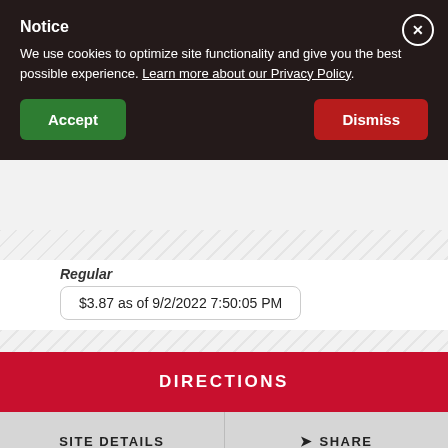Notice
We use cookies to optimize site functionality and give you the best possible experience. Learn more about our Privacy Policy.
Accept
Dismiss
Regular
$3.87 as of 9/2/2022 7:50:05 PM
DIRECTIONS
SITE DETAILS
SHARE
Chrisman FAST STOP Express